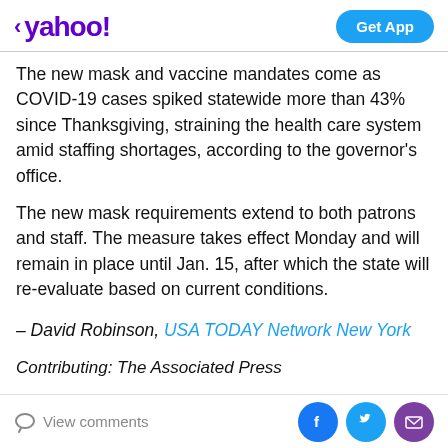yahoo! | Get App
The new mask and vaccine mandates come as COVID-19 cases spiked statewide more than 43% since Thanksgiving, straining the health care system amid staffing shortages, according to the governor's office.
The new mask requirements extend to both patrons and staff. The measure takes effect Monday and will remain in place until Jan. 15, after which the state will re-evaluate based on current conditions.
– David Robinson, USA TODAY Network New York
Contributing: The Associated Press
This article originally appeared on USA TODAY: First UK death from omicron variant. Omicron outpaces COVID...
View comments | Facebook | Twitter | Email